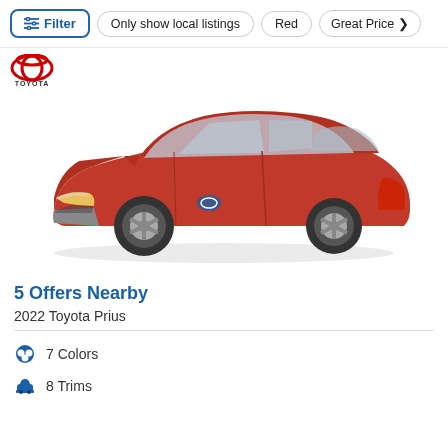Filter  Only show local listings  Red  Great Price
[Figure (photo): Red 2022 Toyota Prius hybrid car shown in 3/4 front view with Toyota logo in top left corner]
5 Offers Nearby
2022 Toyota Prius
7 Colors
8 Trims